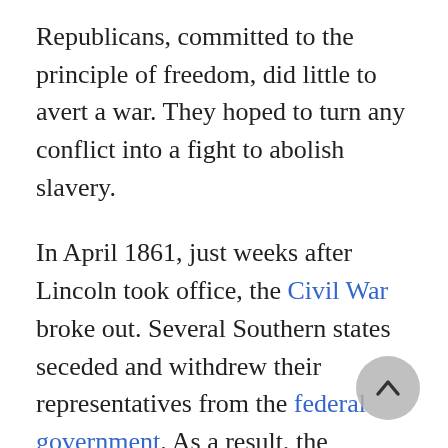Republicans, committed to the principle of freedom, did little to avert a war. They hoped to turn any conflict into a fight to abolish slavery.
In April 1861, just weeks after Lincoln took office, the Civil War broke out. Several Southern states seceded and withdrew their representatives from the federal government. As a result, the Radical Republicans gained the majority in both houses of Congress. Working it to their advantage, they